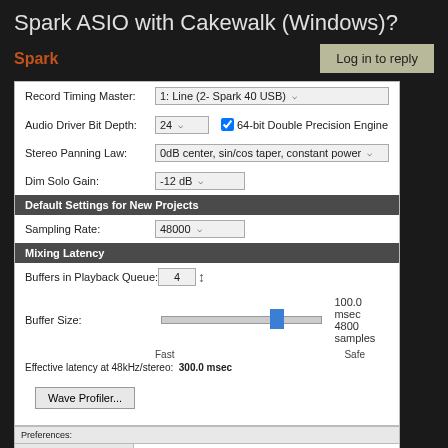Spark ASIO with Cakewalk (Windows)?
Spark
Log in to reply
[Figure (screenshot): Cakewalk audio preferences screenshot showing Record Timing Master set to '1: Line (2- Spark 40 USB)', Audio Driver Bit Depth 24 with 64-bit Double Precision Engine checked, Stereo Panning Law: 0dB center sin/cos taper constant power, Dim Solo Gain: -12 dB, Default Settings for New Projects section with Sampling Rate 48000, Mixing Latency section with Buffers in Playback Queue: 4, Buffer Size slider showing 100.0 msec / 4800 samples, Fast to Safe slider, Effective latency at 48kHz/stereo: 300.0 msec, and Wave Profiler button]
[Figure (screenshot): Cakewalk Preferences panel bottom showing Audio category with Devices selected (orange highlight) and Driver Settings option, right panel shows 'Select audio recording and playback devices', instructions to check/uncheck entries and double-click friendly names, Input Drivers section header]